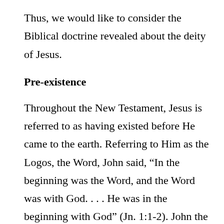Thus, we would like to consider the Biblical doctrine revealed about the deity of Jesus.
Pre-existence
Throughout the New Testament, Jesus is referred to as having existed before He came to the earth. Referring to Him as the Logos, the Word, John said, “In the beginning was the Word, and the Word was with God. . . . He was in the beginning with God” (Jn. 1:1-2). John the Baptist testified, “This was He of